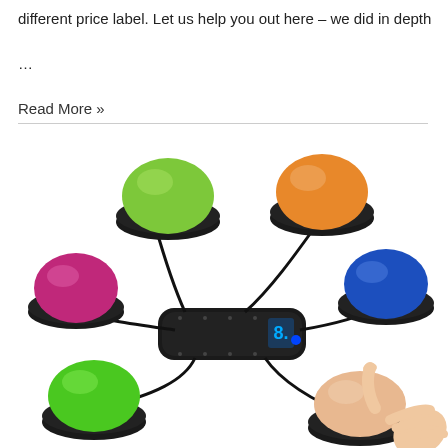different price label. Let us help you out here – we did in depth ...
Read More »
[Figure (photo): Photo of a set of colorful dome-shaped quiz buzzer buttons (green, orange, pink/magenta, blue, green, and orange/beige) connected by black cables to a central black hub device with a digital display showing an '8' and a blue indicator light. A hand is pressing one of the buttons on the lower right.]